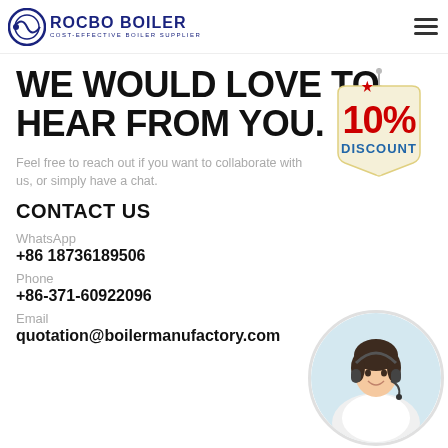ROCBO BOILER - COST-EFFECTIVE BOILER SUPPLIER
WE WOULD LOVE TO HEAR FROM YOU.
Feel free to reach out if you want to collaborate with us, or simply have a chat.
CONTACT US
[Figure (illustration): 10% DISCOUNT badge/sign hanging on a nail]
WhatsApp
+86 18736189506
Phone
+86-371-60922096
Email
quotation@boilermanufactory.com
[Figure (photo): Customer service representative woman wearing headset, smiling, circular crop]